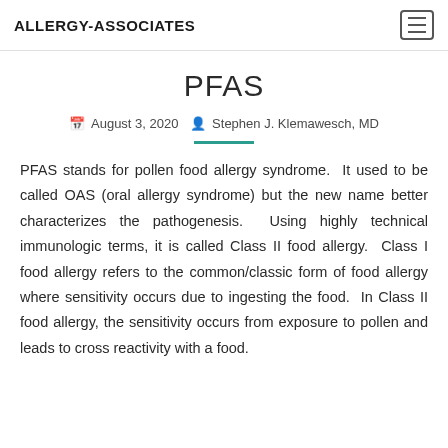ALLERGY-ASSOCIATES
PFAS
August 3, 2020  Stephen J. Klemawesch, MD
PFAS stands for pollen food allergy syndrome.  It used to be called OAS (oral allergy syndrome) but the new name better characterizes the pathogenesis.  Using highly technical immunologic terms, it is called Class II food allergy.  Class I food allergy refers to the common/classic form of food allergy where sensitivity occurs due to ingesting the food.  In Class II food allergy, the sensitivity occurs from exposure to pollen and leads to cross reactivity with a food.